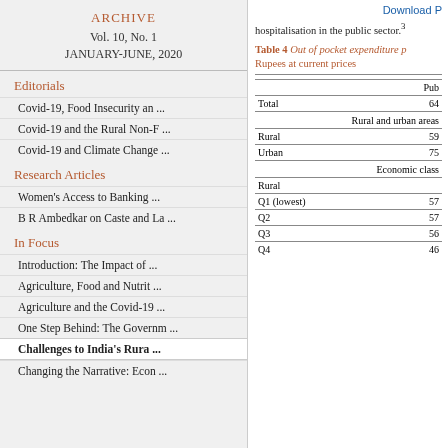ARCHIVE
Vol. 10, No. 1
JANUARY-JUNE, 2020
Editorials
Covid-19, Food Insecurity an ...
Covid-19 and the Rural Non-F ...
Covid-19 and Climate Change ...
Research Articles
Women's Access to Banking ...
B R Ambedkar on Caste and La ...
In Focus
Introduction: The Impact of ...
Agriculture, Food and Nutrit ...
Agriculture and the Covid-19 ...
One Step Behind: The Governm ...
Challenges to India's Rura ...
Changing the Narrative: Econ ...
hospitalisation in the public sector.3
Table 4 Out of pocket expenditure p...
Rupees at current prices
|  | Pub |
| --- | --- |
| Total | 64 |
| Rural and urban areas |  |
| Rural | 59 |
| Urban | 75 |
| Economic class |  |
| Rural |  |
| Q1 (lowest) | 57 |
| Q2 | 57 |
| Q3 | 56 |
| Q4 | 46 |